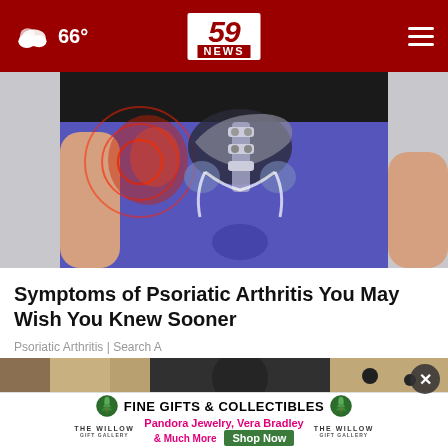66° | 59 NEWS
[Figure (photo): Medical illustration showing hip/pelvis area with pain indicators overlaid on a person wearing blue leggings, with red concentric circles indicating pain on the left hip area and skeletal/joint imagery visible]
Symptoms of Psoriatic Arthritis You May Wish You Knew Sooner
Psoriatic Arthritis | Search A
[Figure (photo): Partial background image with a dark circular close button with X, and an advertisement banner for The Willow Gift Gallery showing Fine Gifts & Collectibles, Pandora Jewelry, Vera Bradley & Much More with Shop Now button]